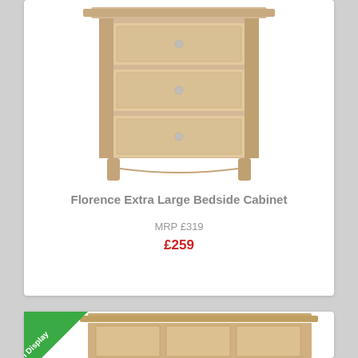[Figure (photo): Florence Extra Large Bedside Cabinet - a light oak wooden bedside table with three drawers and small round knobs]
Florence Extra Large Bedside Cabinet
MRP £319
£259
[Figure (photo): Bottom portion of a second product card showing a light oak storage cabinet with three drawers and an 'On Display' green corner badge]